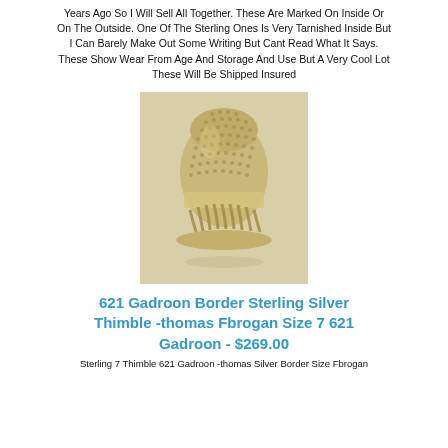Years Ago So I Will Sell All Together. These Are Marked On Inside Or On The Outside. One Of The Sterling Ones Is Very Tarnished Inside But I Can Barely Make Out Some Writing But Cant Read What It Says. These Show Wear From Age And Storage And Use But A Very Cool Lot These Will Be Shipped Insured
[Figure (photo): Photo of a sterling silver thimble with gadroon border and dotted textured cap, gold/silver tone.]
621 Gadroon Border Sterling Silver Thimble -thomas Fbrogan Size 7 621 Gadroon - $269.00
Sterling 7 Thimble 621 Gadroon -thomas Silver Border Size Fbrogan